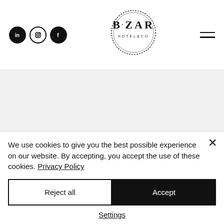[Figure (logo): B-ZAR HOTEL&CO logo — circular rope border with B·ZAR lettering and HOTEL&CO below]
[Figure (screenshot): B-ZAR Hotels booking widget — hotel selector dropdown showing 'B-ZAR HOTELS' with Check-in and Check-out date fields]
We use cookies to give you the best possible experience on our website. By accepting, you accept the use of these cookies. Privacy Policy
Reject all
Accept
Settings